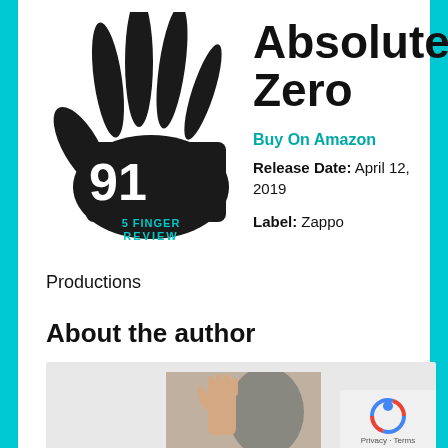[Figure (logo): 5 Finger Review logo: black hand silhouette with number 91 and text '5 FINGER REVIEW' in teal]
Absolute Zero
Buy On Amazon
Release Date: April 12, 2019
Label: Zappo Productions
About the author
[Figure (photo): Author photo: person holding up hand with five fingers spread, black and white style]